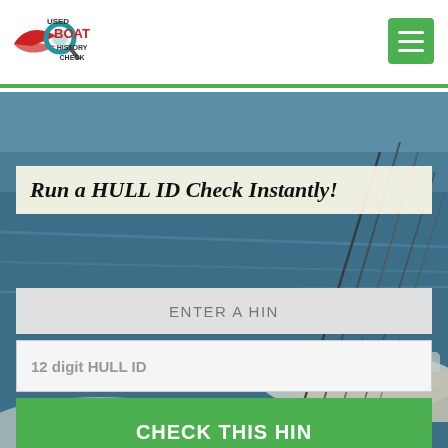[Figure (logo): Used Boat History Check logo with magnifying glass and wing icon in red and teal, text reads USED BOAT HISTORY CHECK]
[Figure (screenshot): Green hamburger menu button in top right corner]
[Figure (photo): Aerial photo of a boat with fishing rods over blue water]
Run a HULL ID Check Instantly!
ENTER A HIN
12 digit HULL ID
CHECK THIS HIN
Don't have a HIN? Click here